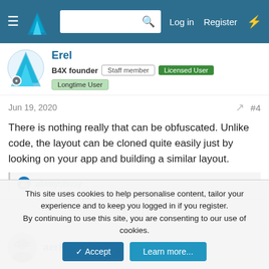Log in  Register
Erel
B4X founder  Staff member  Licensed User  Longtime User
Jun 19, 2020  #4
There is nothing really that can be obfuscated. Unlike code, the layout can be cloned quite easily just by looking on your app and building a similar layout.
alwaysbusy
0
aeric
This site uses cookies to help personalise content, tailor your experience and to keep you logged in if you register.
By continuing to use this site, you are consenting to our use of cookies.